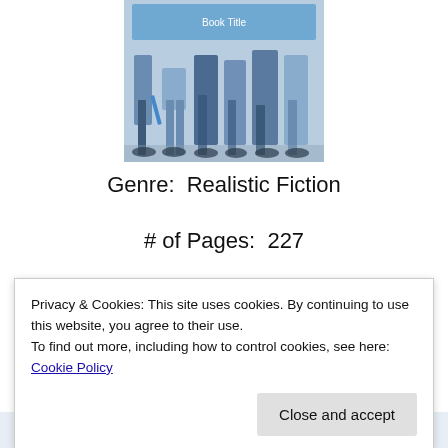[Figure (photo): Book cover image showing legs of several people standing together, blue-tinted black and white photo, with a blue title box at top]
Genre:  Realistic Fiction
# of Pages:  227
RAC:  Yes
Privacy & Cookies: This site uses cookies. By continuing to use this website, you agree to their use.
To find out more, including how to control cookies, see here: Cookie Policy
Close and accept